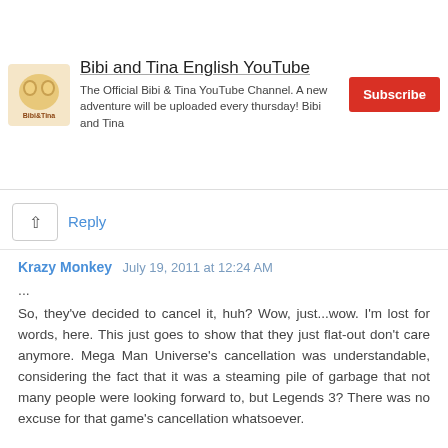[Figure (infographic): Advertisement banner for Bibi and Tina English YouTube channel with logo, description text, and Subscribe button]
Reply
Krazy Monkey  July 19, 2011 at 12:24 AM
...
So, they've decided to cancel it, huh? Wow, just...wow. I'm lost for words, here. This just goes to show that they just flat-out don't care anymore. Mega Man Universe's cancellation was understandable, considering the fact that it was a steaming pile of garbage that not many people were looking forward to, but Legends 3? There was no excuse for that game's cancellation whatsoever.
People have waited at least ten years for a sequel to come into existence, and when it finally happens, they decide to pull the plug on it? Did they not take into consideration how